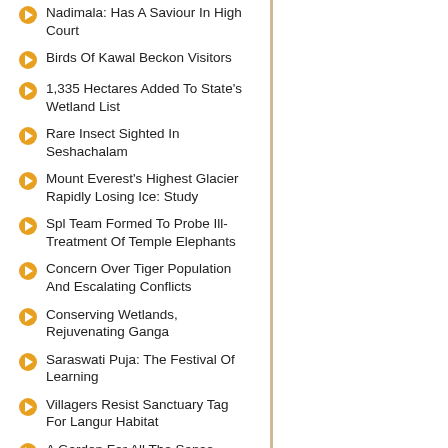Nadimala: Has A Saviour In High Court
Birds Of Kawal Beckon Visitors
1,335 Hectares Added To State's Wetland List
Rare Insect Sighted In Seshachalam
Mount Everest's Highest Glacier Rapidly Losing Ice: Study
Spl Team Formed To Probe Ill-Treatment Of Temple Elephants
Concern Over Tiger Population And Escalating Conflicts
Conserving Wetlands, Rejuvenating Ganga
Saraswati Puja: The Festival Of Learning
Villagers Resist Sanctuary Tag For Langur Habitat
A Garden For All The Sense
Coringa, A Case Of Negligence In Claiming 'Ramsar Status'